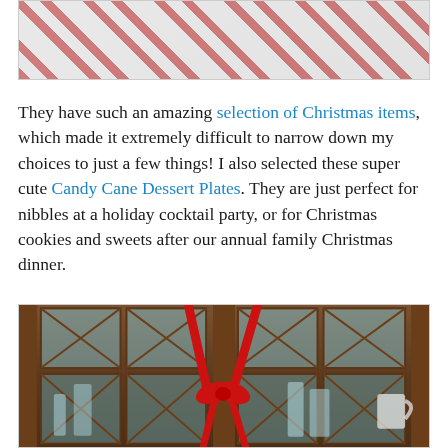[Figure (photo): Top portion of a red and white patterned plate or decorative item, cropped at top of page]
They have such an amazing selection of Christmas items, which made it extremely difficult to narrow down my choices to just a few things! I also selected these super cute Candy Cane Dessert Plates. They are just perfect for nibbles at a holiday cocktail party, or for Christmas cookies and sweets after our annual family Christmas dinner.
[Figure (photo): A wooden china cabinet with glass panes decorated with a large red ribbon and bow tied across the front doors, glassware visible inside]